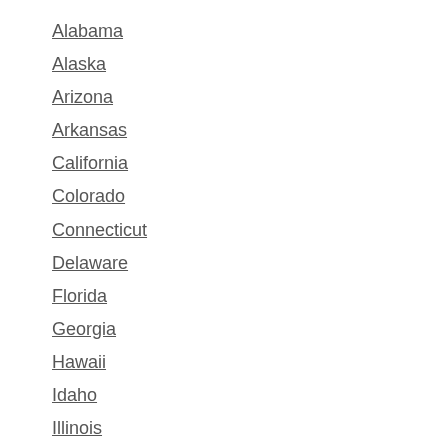Alabama
Alaska
Arizona
Arkansas
California
Colorado
Connecticut
Delaware
Florida
Georgia
Hawaii
Idaho
Illinois
Indiana
Iowa
Kansas
Kentucky
Louisiana